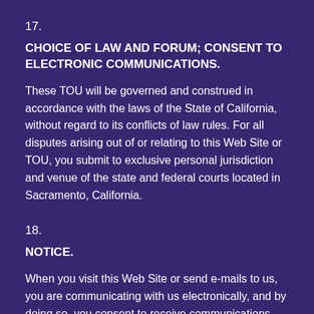17.
CHOICE OF LAW AND FORUM; CONSENT TO ELECTRONIC COMMUNICATIONS.
These TOU will be governed and construed in accordance with the laws of the State of California, without regard to its conflicts of law rules. For all disputes arising out of or relating to this Web Site or TOU, you submit to exclusive personal jurisdiction and venue of the state and federal courts located in Sacramento, California.
18.
NOTICE.
When you visit this Web Site or send e-mails to us, you are communicating with us electronically, and by doing so, you consent to receive communications from us electronically. We will communicate with you by e-mail or by posting notices on this Web Site. You agree that all agreements, notices, disclosures and